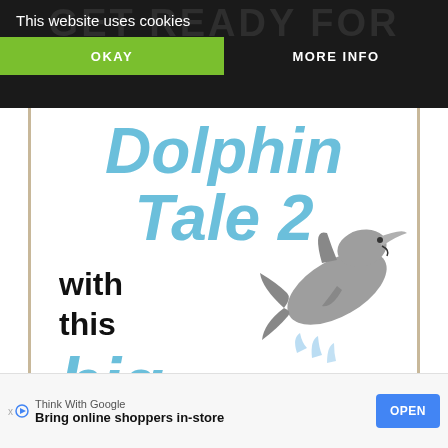This website uses cookies
OKAY
MORE INFO
Dolphin Tale 2
with
this
big list
[Figure (illustration): Cartoon dolphin jumping out of water, facing right, with water splashing below]
Think With Google
Bring online shoppers in-store
OPEN